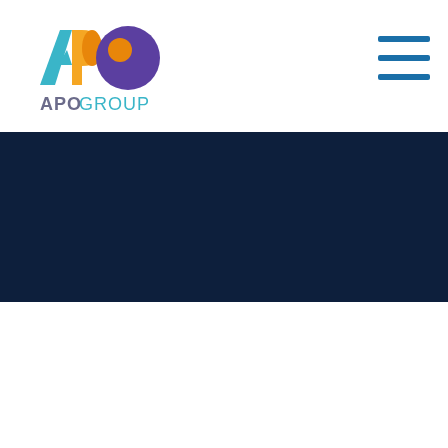APO GROUP logo and navigation
[Figure (logo): APO GROUP logo with stylized A, P (orange/yellow), and O (purple) letters above text 'APOGROUP' in gray and blue]
[Figure (other): Hamburger menu icon with three horizontal blue lines]
[Figure (other): Dark navy blue banner/hero section background]